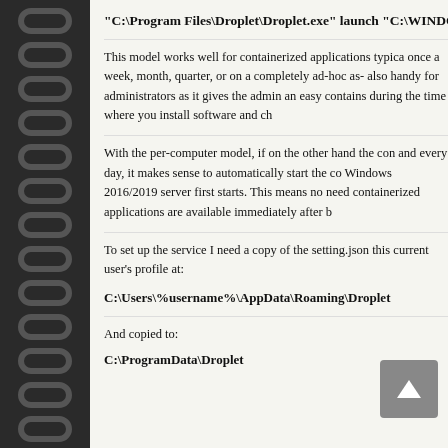"C:\Program Files\Droplet\Droplet.exe" launch "C:\WINDOW
This model works well for containerized applications typica once a week, month, quarter, or on a completely ad-hoc as- also handy for administrators as it gives the admin an easy contains during the time where you install software and ch
With the per-computer model, if on the other hand the con and every day, it makes sense to automatically start the co Windows 2016/2019 server first starts. This means no need containerized applications are available immediately after b
To set up the service I need a copy of the setting.json this current user's profile at:
C:\Users\%username%\AppData\Roaming\Droplet
And copied to:
C:\ProgramData\Droplet